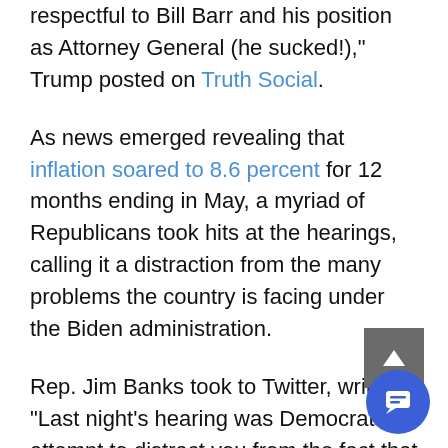respectful to Bill Barr and his position as Attorney General (he sucked!)," Trump posted on Truth Social.
As news emerged revealing that inflation soared to 8.6 percent for 12 months ending in May, a myriad of Republicans took hits at the hearings, calling it a distraction from the many problems the country is facing under the Biden administration.
Rep. Jim Banks took to Twitter, writing, "Last night's hearing was Democrats' attempt to distract you from the fact that inflation just hit a 40 year high on their watch."